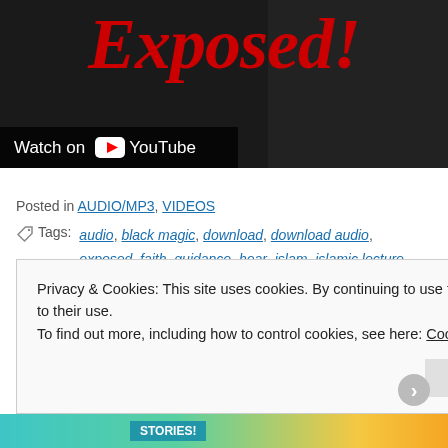[Figure (screenshot): YouTube video thumbnail showing 'Exposed!' text in large red italic font on dark background, with 'Watch on YouTube' bar at bottom left]
Posted in AUDIO/MP3, VIDEOS
Tags: audio, black magic, download, download audio, exposed, faith, guidance, hear, islam, islamic lecture, jinn, knowledge, learn, lecture, link, magician, menk, mp3, mufti, mufti ismail menk, mufti menk, muslim, reminder, scholar, share, spread, understand, video, watch
Privacy & Cookies: This site uses cookies. By continuing to use this website, you agree to their use.
To find out more, including how to control cookies, see here: Cookie Policy
Close and accept